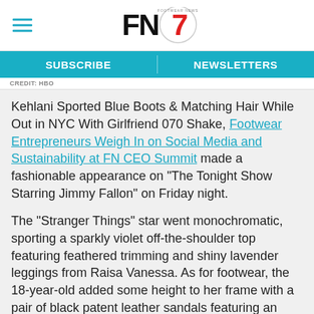FN (Footwear News logo)
SUBSCRIBE | NEWSLETTERS
CREDIT: HBO
Kehlani Sported Blue Boots & Matching Hair While Out in NYC With Girlfriend 070 Shake, Footwear Entrepreneurs Weigh In on Social Media and Sustainability at FN CEO Summit made a fashionable appearance on “The Tonight Show Starring Jimmy Fallon” on Friday night.
The “Stranger Things” star went monochromatic, sporting a sparkly violet off-the-shoulder top featuring feathered trimming and shiny lavender leggings from Raisa Vanessa. As for footwear, the 18-year-old added some height to her frame with a pair of black patent leather sandals featuring an ultra chunky platform base and a soaring high heel.